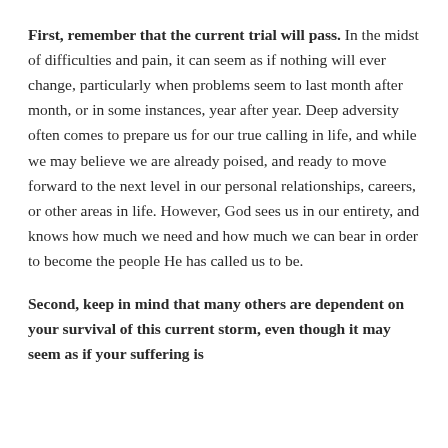First, remember that the current trial will pass. In the midst of difficulties and pain, it can seem as if nothing will ever change, particularly when problems seem to last month after month, or in some instances, year after year. Deep adversity often comes to prepare us for our true calling in life, and while we may believe we are already poised, and ready to move forward to the next level in our personal relationships, careers, or other areas in life. However, God sees us in our entirety, and knows how much we need and how much we can bear in order to become the people He has called us to be.
Second, keep in mind that many others are dependent on your survival of this current storm, even though it may seem as if your suffering is